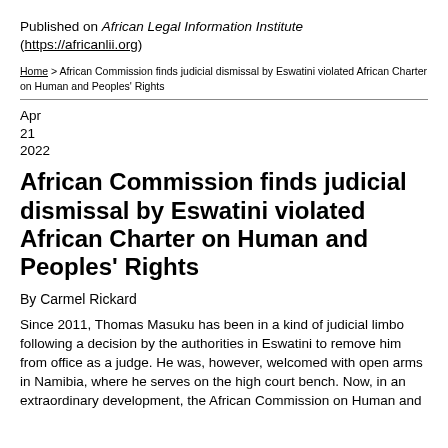Published on African Legal Information Institute (https://africanlii.org)
Home > African Commission finds judicial dismissal by Eswatini violated African Charter on Human and Peoples' Rights
Apr
21
2022
African Commission finds judicial dismissal by Eswatini violated African Charter on Human and Peoples' Rights
By Carmel Rickard
Since 2011, Thomas Masuku has been in a kind of judicial limbo following a decision by the authorities in Eswatini to remove him from office as a judge. He was, however, welcomed with open arms in Namibia, where he serves on the high court bench. Now, in an extraordinary development, the African Commission on Human and